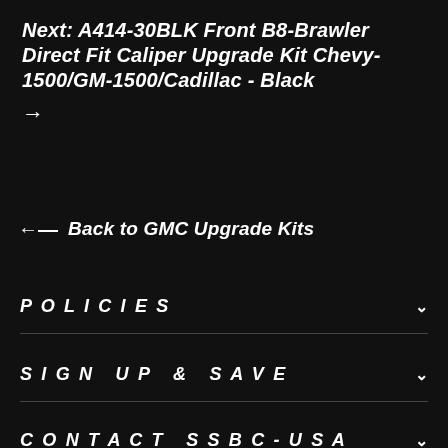Next: A414-30BLK Front B8-Brawler Direct Fit Caliper Upgrade Kit Chevy-1500/GM-1500/Cadillac - Black →
← Back to GMC Upgrade Kits
POLICIES
SIGN UP & SAVE
CONTACT SSBC-USA